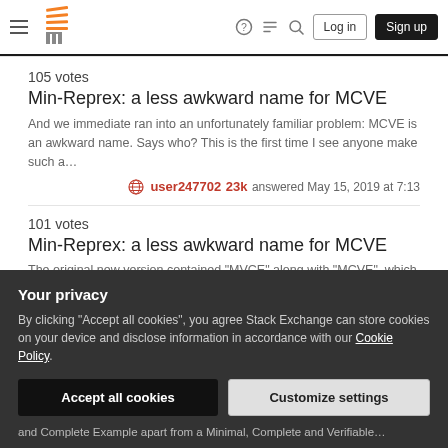Stack Overflow navigation bar with Log in and Sign up buttons
105 votes
Min-Reprex: a less awkward name for MCVE
And we immediate ran into an unfortunately familiar problem: MCVE is an awkward name. Says who? This is the first time I see anyone make such a…
user247702 23k answered May 15, 2019 at 7:13
101 votes
Min-Reprex: a less awkward name for MCVE
The original new version contained "MVCE" along with "MCVE", which I thought was reasonable to help readers seeing the old name find it via googl…
Your privacy
By clicking "Accept all cookies", you agree Stack Exchange can store cookies on your device and disclose information in accordance with our Cookie Policy.
Accept all cookies
Customize settings
and Complete Example apart from a Minimal, Complete and Verifiable…